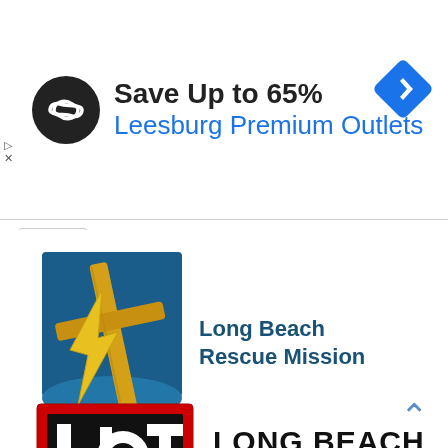[Figure (logo): Advertisement banner: circular black logo with infinity/loop symbol, text 'Save Up to 65%' in bold black, 'Leesburg Premium Outlets' in blue, blue diamond navigation icon at right. Small play and close icons at left edge.]
[Figure (logo): Long Beach Rescue Mission logo: blue square with cross/palm graphic in blue and yellow/gold, text 'Long Beach Rescue Mission' in dark blue bold.]
[Figure (logo): Long Beach Transit logo: red and black square LBT emblem on left, text 'LONG BEACH' in bold black with underline, 'TRANSIT' in spaced black letters below.]